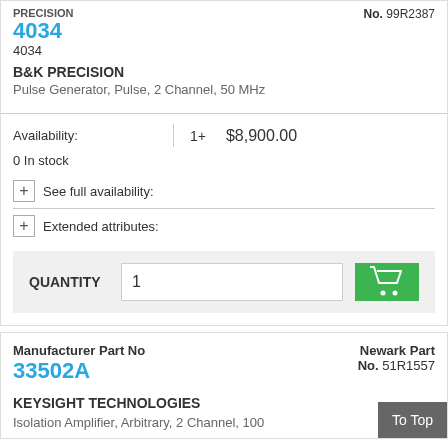PRECISION 4034
4034
No. 99R2387
B&K PRECISION
Pulse Generator, Pulse, 2 Channel, 50 MHz
Availability: 1+  $8,900.00
0 In stock
+ See full availability:
+ Extended attributes:
QUANTITY 1
Manufacturer Part No
33502A
Newark Part No. 51R1557
KEYSIGHT TECHNOLOGIES
Isolation Amplifier, Arbitrary, 2 Channel, 100
To Top